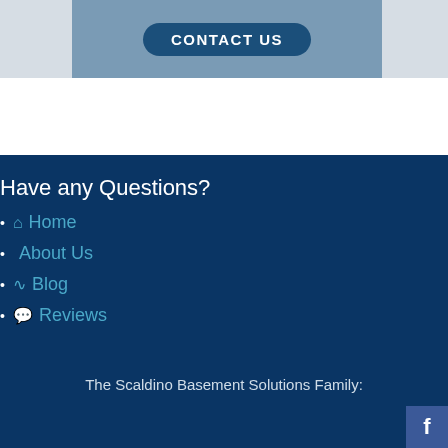[Figure (other): Contact Us button on a blue-grey banner background]
Have any Questions?
Home
About Us
Blog
Reviews
The Scaldino Basement Solutions Family:
[Figure (logo): Facebook icon button in bottom right corner]